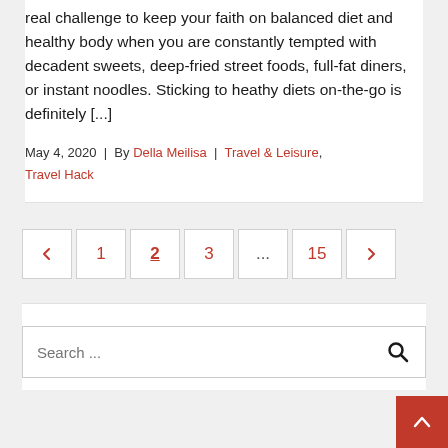real challenge to keep your faith on balanced diet and healthy body when you are constantly tempted with decadent sweets, deep-fried street foods, full-fat diners, or instant noodles. Sticking to heathy diets on-the-go is definitely [...]
May 4, 2020 | By Della Meilisa | Travel & Leisure, Travel Hack
< 1 2 3 ... 15 >
Search ...